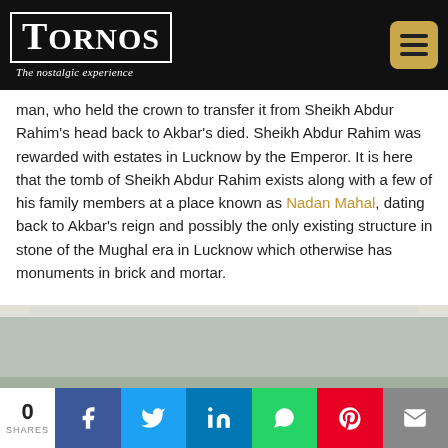Tornos — The nostalgic experience
man, who held the crown to transfer it from Sheikh Abdur Rahim's head back to Akbar's died. Sheikh Abdur Rahim was rewarded with estates in Lucknow by the Emperor. It is here that the tomb of Sheikh Abdur Rahim exists along with a few of his family members at a place known as Nadan Mahal, dating back to Akbar's reign and possibly the only existing structure in stone of the Mughal era in Lucknow which otherwise has monuments in brick and mortar.
[Figure (photo): Photograph of a stone structure at Nadan Mahal, Lucknow — top portion visible showing stone surface with light grey tones]
0 SHARES — Share buttons: Facebook, Twitter, LinkedIn, WhatsApp, Pinterest, Email